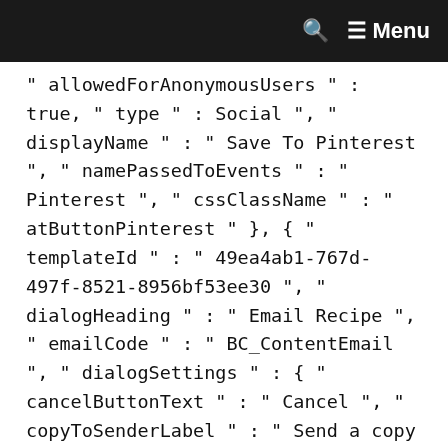Menu
allowedForAnonymousUsers" : true, " type" : Social", "displayName" : " Save To Pinterest", "namePassedToEvents" : " Pinterest", "cssClassName" : " atButtonPinterest" }, { "templateId" : " 49ea4ab1-767d-497f-8521-8956bf53ee30", "dialogHeading" : " Email Recipe", "emailCode" : " BC_ContentEmail", "dialogSettings" : { "cancelButtonText" : " Cancel", "copyToSenderLabel" : " Send a copy to Myself", "emailAddressesLabel" : " * Email Address ( einsteinium )", "emailInstructionText" : " Separate electronic mail addresses with comma", "fromText" : " From :", "privacyPolicyText" : " \u003cp\u003e\u0026copy ; 2022 General Mills, Inc. All Rights Reserved. This information will alone be used to send an e-mail to your